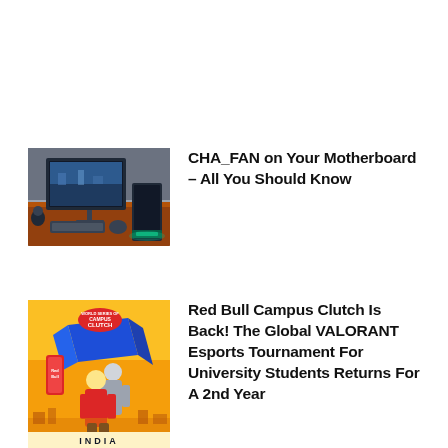[Figure (photo): Gaming PC desktop setup on a desk with monitor showing a game, keyboard, and green RGB lighting]
CHA_FAN on Your Motherboard – All You Should Know
[Figure (photo): Red Bull Campus Clutch VALORANT esports tournament poster with anime-style characters on yellow/blue background, text INDIA at bottom]
Red Bull Campus Clutch Is Back! The Global VALORANT Esports Tournament For University Students Returns For A 2nd Year